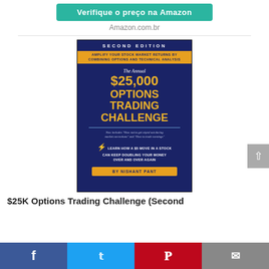Verifique o preço na Amazon
Amazon.com.br
[Figure (illustration): Book cover for 'The Annual $25,000 Options Trading Challenge' Second Edition by Nishant Pant. Dark blue background with yellow/gold title text. Contains subtitle 'Amplify Your Stock Market Returns By Combining Options and Technical Analysis'. Includes text: 'Now includes How not to get wiped out during market corrections and How to trade earnings'. Bottom text: 'Learn how a $5 move in a stock can keep doubling your money over and over again'. Author band: 'By Nishant Pant'.]
$25K Options Trading Challenge (Second
Social sharing bar with Facebook, Twitter, Pinterest, and Email buttons